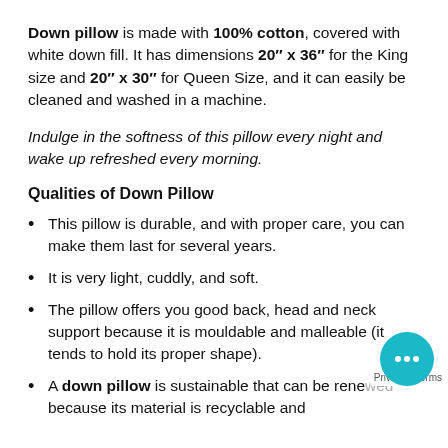Down pillow is made with 100% cotton, covered with white down fill. It has dimensions 20" x 36" for the King size and 20" x 30" for Queen Size, and it can easily be cleaned and washed in a machine.
Indulge in the softness of this pillow every night and wake up refreshed every morning.
Qualities of Down Pillow
This pillow is durable, and with proper care, you can make them last for several years.
It is very light, cuddly, and soft.
The pillow offers you good back, head and neck support because it is mouldable and malleable (it tends to hold its proper shape).
A down pillow is sustainable that can be renewed because its material is recyclable and